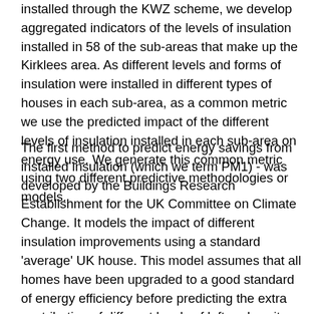installed through the KWZ scheme, we develop aggregated indicators of the levels of insulation installed in 58 of the sub-areas that make up the Kirklees area. As different levels and forms of insulation were installed in different types of houses in each sub-area, as a common metric we use the predicted impact of the different levels of insulation installed in each sub-area on energy use. We generate this common metric using two different predictive methodologies or models.
The first method to predict energy savings from installed insulation (which we term PM1) - was developed by the Buildings Research Establishment for the UK Committee on Climate Change. It models the impact of different insulation improvements using a standard 'average' UK house. This model assumes that all homes have been upgraded to a good standard of energy efficiency before predicting the extra contribution of different levels of loft and cavity wall insulation. This model thus generates what are currently conservative predictions of energy savings reflecting the minimum savings that are likely, given that more homes are not yet at this level of efficiency.